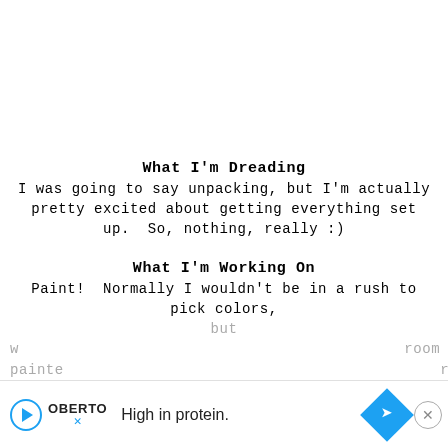What I'm Dreading
I was going to say unpacking, but I'm actually pretty excited about getting everything set up.  So, nothing, really :)
What I'm Working On
Paint!  Normally I wouldn't be in a rush to pick colors, but w room painte rooms
[Figure (other): Advertisement banner: Oberto 'High in protein.' with play button, logo, and navigation arrow icon, plus close button]